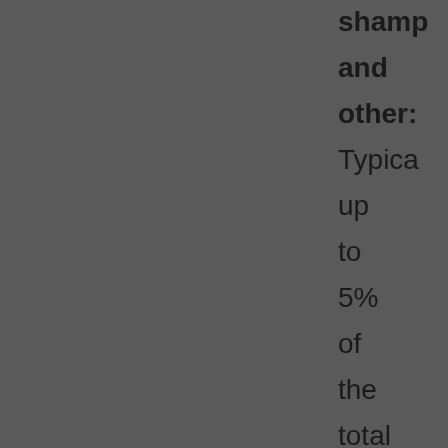shamp and other: Typically up to 5% of the total formula will suffice Shelf life: This